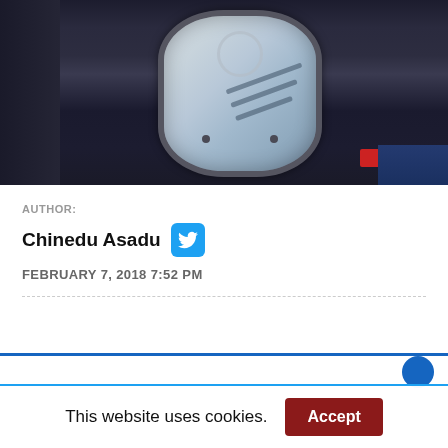[Figure (photo): Interior view of an airplane cabin showing a window seat. The oval airplane window is visible with light coming through it, showing the wing outside. Dark airplane seats are visible on the left. A red object and blue seat fabric are visible at the bottom right.]
AUTHOR:
Chinedu Asadu
FEBRUARY 7, 2018 7:52 PM
This website uses cookies.
Accept